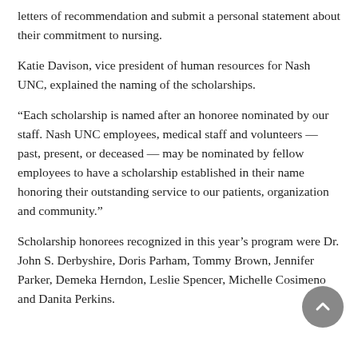letters of recommendation and submit a personal statement about their commitment to nursing.
Katie Davison, vice president of human resources for Nash UNC, explained the naming of the scholarships.
“Each scholarship is named after an honoree nominated by our staff. Nash UNC employees, medical staff and volunteers — past, present, or deceased — may be nominated by fellow employees to have a scholarship established in their name honoring their outstanding service to our patients, organization and community.”
Scholarship honorees recognized in this year’s program were Dr. John S. Derbyshire, Doris Parham, Tommy Brown, Jennifer Parker, Demeka Herndon, Leslie Spencer, Michelle Cosimeno and Danita Perkins.